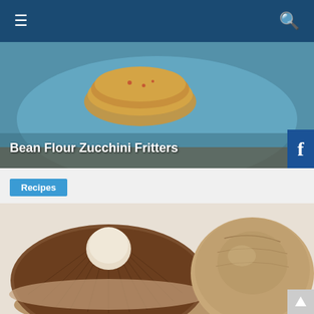Navigation bar with hamburger menu and search icon
[Figure (photo): Hero image of Bean Flour Zucchini Fritters on a blue plate]
Bean Flour Zucchini Fritters
Recipes
[Figure (photo): Close-up photo of two large portobello mushrooms, one showing the underside gills and stem, the other showing the top cap]